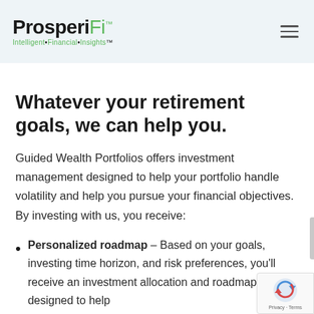ProsperiFi™ — Intelligent·Financial·Insights™
Whatever your retirement goals, we can help you.
Guided Wealth Portfolios offers investment management designed to help your portfolio handle volatility and help you pursue your financial objectives. By investing with us, you receive:
Personalized roadmap – Based on your goals, investing time horizon, and risk preferences, you'll receive an investment allocation and roadmap designed to help